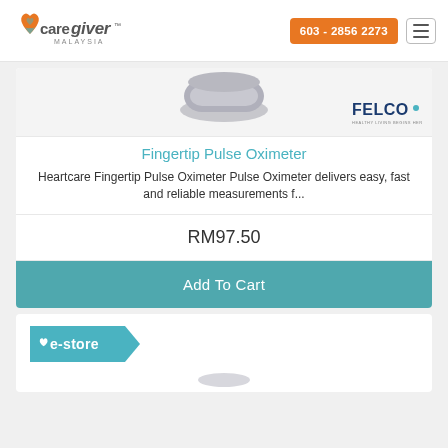603 - 2856 2273
[Figure (logo): CareGiver Malaysia logo with heart icon]
[Figure (photo): Fingertip pulse oximeter device image (grey/metallic)]
[Figure (logo): FELCO - Healthy Living Begins Here logo]
Fingertip Pulse Oximeter
Heartcare Fingertip Pulse Oximeter Pulse Oximeter delivers easy, fast and reliable measurements f...
RM97.50
Add To Cart
[Figure (logo): e-store badge logo with heart icon]